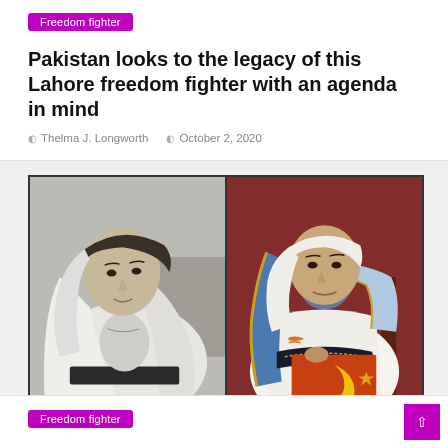Freedom fighter
Pakistan looks to the legacy of this Lahore freedom fighter with an agenda in mind
Thelma J. Longworth   October 2, 2020
[Figure (photo): Two portraits side by side: left is a black-and-white photograph of a woman wearing a light-colored shawl; right is a color painting of a woman in a white outfit with a blue and gold dupatta, holding a banner with a crescent symbol against a dark red background.]
Freedom fighter